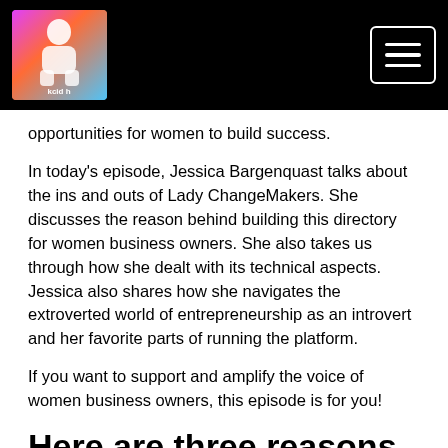[Logo: Lady ChangeMakers podcast] [Navigation menu button]
opportunities for women to build success.
In today's episode, Jessica Bargenquast talks about the ins and outs of Lady ChangeMakers. She discusses the reason behind building this directory for women business owners. She also takes us through how she dealt with its technical aspects. Jessica also shares how she navigates the extroverted world of entrepreneurship as an introvert and her favorite parts of running the platform.
If you want to support and amplify the voice of women business owners, this episode is for you!
Here are three reasons why you should listen to the full episode:
Find out how to support women business owners through an online directory.
Discover how...